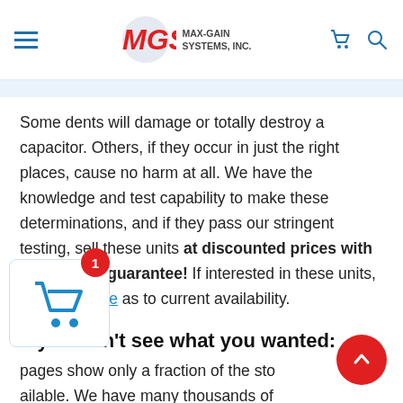MGS MAX-GAIN SYSTEMS, INC.
Some dents will damage or totally destroy a capacitor. Others, if they occur in just the right places, cause no harm at all. We have the knowledge and test capability to make these determinations, and if they pass our stringent testing, sell these units at discounted prices with our regular guarantee! If interested in these units, please inquire as to current availability.
If you don't see what you wanted:
pages show only a fraction of the stock available. We have many thousands of vacuum capacitors, both fixed and variable, so